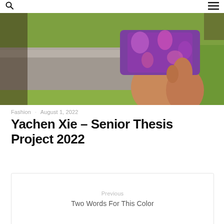🔍 ≡
[Figure (photo): Partial view of a person wearing purple/pink floral shorts, sitting near a stone ledge with green grass in the background.]
Fashion · August 1, 2022
Yachen Xie – Senior Thesis Project 2022
Previous
Two Words For This Color